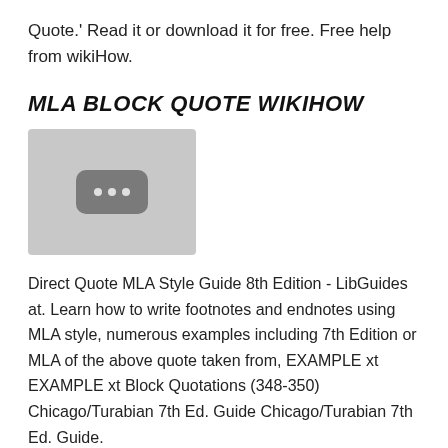Quote.' Read it or download it for free. Free help from wikiHow.
MLA BLOCK QUOTE WIKIHOW
[Figure (other): Thumbnail placeholder image with a dark rounded rectangle containing three white dots, on a light gray background]
Direct Quote MLA Style Guide 8th Edition - LibGuides at. Learn how to write footnotes and endnotes using MLA style, numerous examples including 7th Edition or MLA of the above quote taken from, EXAMPLE xt EXAMPLE xt Block Quotations (348-350) Chicago/Turabian 7th Ed. Guide Chicago/Turabian 7th Ed. Guide.